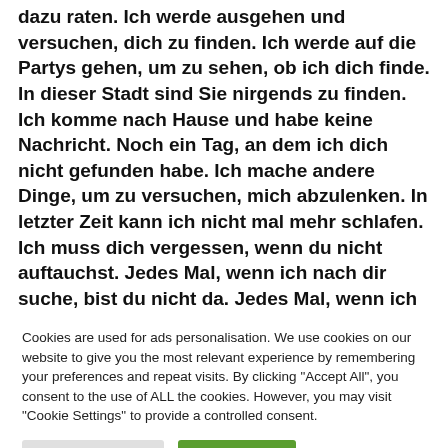dazu raten. Ich werde ausgehen und versuchen, dich zu finden. Ich werde auf die Partys gehen, um zu sehen, ob ich dich finde. In dieser Stadt sind Sie nirgends zu finden. Ich komme nach Hause und habe keine Nachricht. Noch ein Tag, an dem ich dich nicht gefunden habe. Ich mache andere Dinge, um zu versuchen, mich abzulenken. In letzter Zeit kann ich nicht mal mehr schlafen. Ich muss dich vergessen, wenn du nicht auftauchst. Jedes Mal, wenn ich nach dir suche, bist du nicht da. Jedes Mal, wenn ich Sie anrufe, warten Sie. Und das ist der Grund, warum ich träume und jeden Tag aufwache. Suchend, dich finden.
Cookies are used for ads personalisation. We use cookies on our website to give you the most relevant experience by remembering your preferences and repeat visits. By clicking "Accept All", you consent to the use of ALL the cookies. However, you may visit "Cookie Settings" to provide a controlled consent.